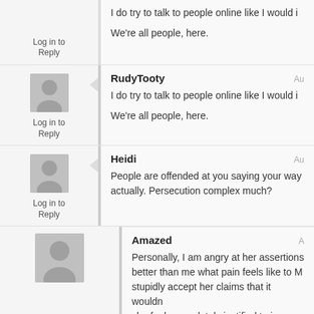I do try to talk to people online like I would i...
We're all people, here.
Log in to Reply
RudyTooty
Au...
I do try to talk to people online like I would i...
We're all people, here.
Log in to Reply
Heidi
Au...
People are offended at you saying your way... actually. Persecution complex much?
Log in to Reply
Amazed
A...
Personally, I am angry at her assertions... better than me what pain feels like to M... stupidly accept her claims that it wouldn... she feels completely justified to ignore m...